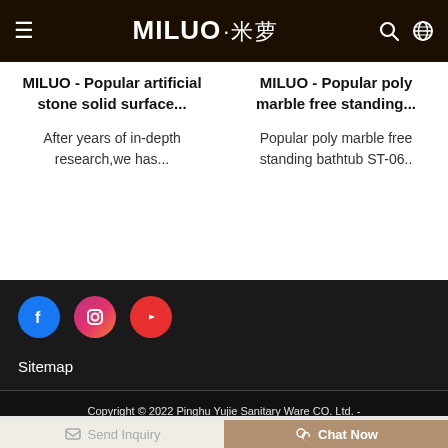MILUO 米萝 — site header with hamburger menu, logo, search and globe icons
MILUO - Popular artificial stone solid surface...
After years of in-depth research,we has...
MILUO - Popular poly marble free standing...
Popular poly marble free standing bathtub ST-06..
[Figure (logo): Facebook, Instagram, YouTube social media icons in colored circles]
Sitemap
Copyright © 2022 Pinghu Yujie Sanitary Ware CO. Ltd. - www.china-miluo.com All Rights Reserved.
Send Inquiry   Chat Now